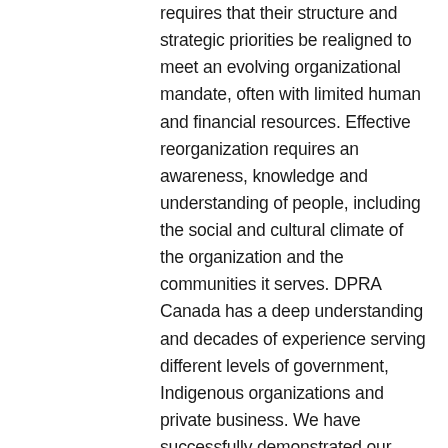requires that their structure and strategic priorities be realigned to meet an evolving organizational mandate, often with limited human and financial resources. Effective reorganization requires an awareness, knowledge and understanding of people, including the social and cultural climate of the organization and the communities it serves. DPRA Canada has a deep understanding and decades of experience serving different levels of government, Indigenous organizations and private business. We have successfully demonstrated our ability to understand, design and implement organizational change. Being effective also requires engaging employees and stakeholders to fully understand the strengths, challenges and perceptions that impact an organization's operations. Only then will employees and